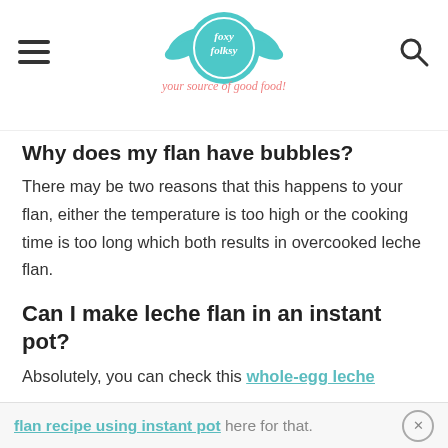Foxy Folksy — your source of good food!
Why does my flan have bubbles?
There may be two reasons that this happens to your flan, either the temperature is too high or the cooking time is too long which both results in overcooked leche flan.
Can I make leche flan in an instant pot?
Absolutely, you can check this whole-egg leche flan recipe using instant pot here for that.